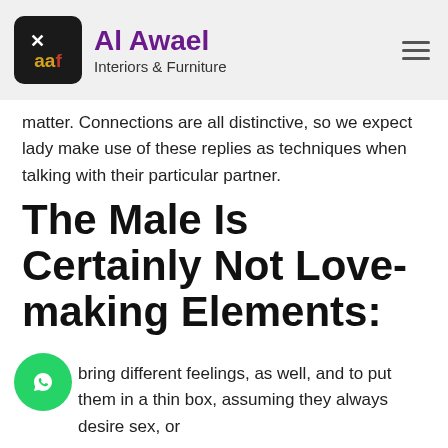Al Awael Interiors & Furniture
matter. Connections are all distinctive, so we expect lady make use of these replies as techniques when talking with their particular partner.
The Male Is Certainly Not Love-making Elements:
bring different feelings, as well, and to put them in a thin box, assuming they always desire sex, or